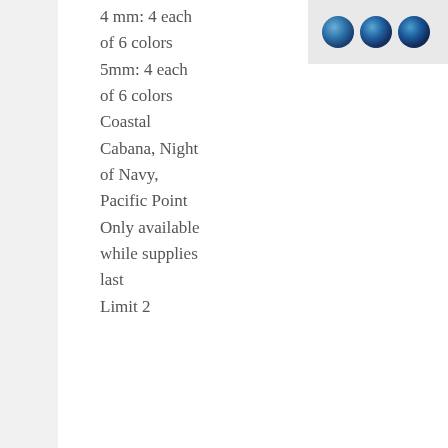[Figure (photo): Three blue bead/rhinestone decorative elements shown in circular shapes against a beige background]
4 mm: 4 each of 6 colors
5mm: 4 each of 6 colors
Coastal Cabana, Night of Navy, Pacific Point
Only available while supplies last
Limit 2
WAVES OF THE OCEAN COLLECTION
The entire exclusive, early-release collection! Explore an ocean of inspiration